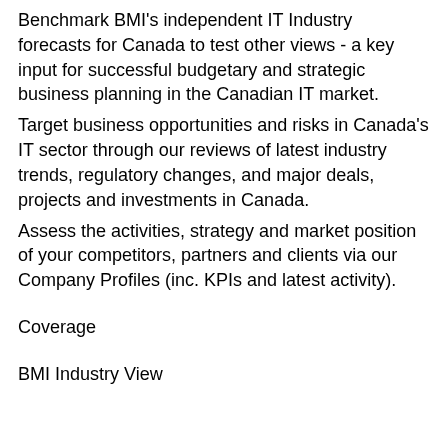Benchmark BMI's independent IT Industry forecasts for Canada to test other views - a key input for successful budgetary and strategic business planning in the Canadian IT market.
Target business opportunities and risks in Canada's IT sector through our reviews of latest industry trends, regulatory changes, and major deals, projects and investments in Canada.
Assess the activities, strategy and market position of your competitors, partners and clients via our Company Profiles (inc. KPIs and latest activity).
Coverage
BMI Industry View